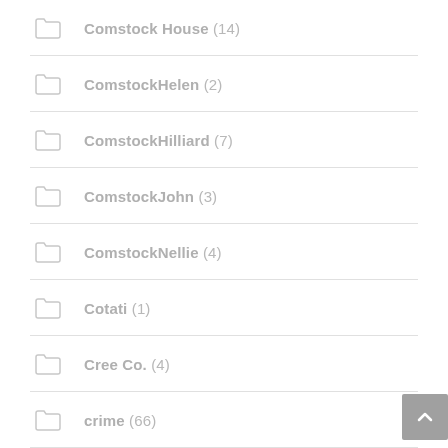Comstock House (14)
ComstockHelen (2)
ComstockHilliard (7)
ComstockJohn (3)
ComstockNellie (4)
Cotati (1)
Cree Co. (4)
crime (66)
culture wars 1920s (4)
DavisWS (2)
development (29)
domestic violence (4)